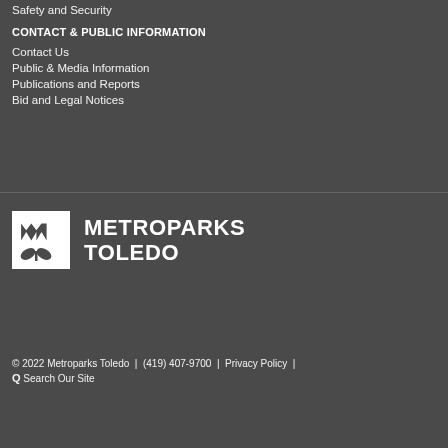Safety and Security
CONTACT & PUBLIC INFORMATION
Contact Us
Public & Media Information
Publications and Reports
Bid and Legal Notices
[Figure (logo): Metroparks Toledo logo — white M icon with leaf/plant graphic on dark background, next to bold white text reading METROPARKS TOLEDO]
© 2022 Metroparks Toledo | (419) 407-9700 | Privacy Policy | 🔍 Search Our Site